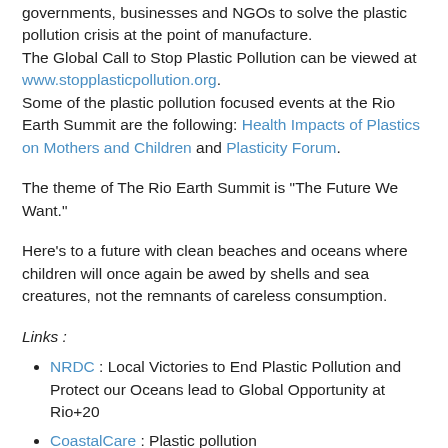governments, businesses and NGOs to solve the plastic pollution crisis at the point of manufacture. The Global Call to Stop Plastic Pollution can be viewed at www.stopplasticpollution.org. Some of the plastic pollution focused events at the Rio Earth Summit are the following: Health Impacts of Plastics on Mothers and Children and Plasticity Forum.
The theme of The Rio Earth Summit is "The Future We Want."
Here's to a future with clean beaches and oceans where children will once again be awed by shells and sea creatures, not the remnants of careless consumption.
Links :
NRDC : Local Victories to End Plastic Pollution and Protect our Oceans lead to Global Opportunity at Rio+20
CoastalCare : Plastic pollution